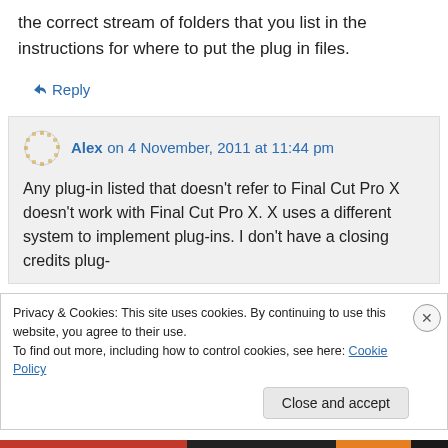the correct stream of folders that you list in the instructions for where to put the plug in files.
↳ Reply
Alex on 4 November, 2011 at 11:44 pm
Any plug-in listed that doesn't refer to Final Cut Pro X doesn't work with Final Cut Pro X. X uses a different system to implement plug-ins. I don't have a closing credits plug-
Privacy & Cookies: This site uses cookies. By continuing to use this website, you agree to their use.
To find out more, including how to control cookies, see here: Cookie Policy
Close and accept